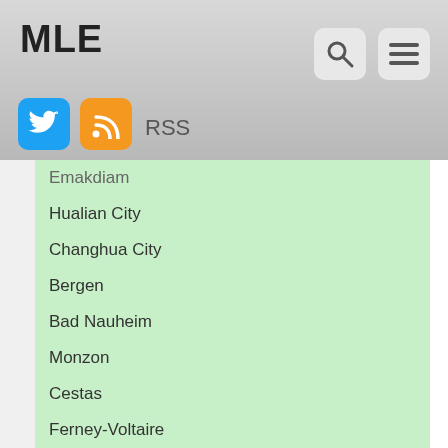MLE
| City | Count |
| --- | --- |
| Emakdiam | 4 |
| Hualian City | 4 |
| Changhua City | 4 |
| Bergen | 4 |
| Bad Nauheim | 4 |
| Monzon | 4 |
| Cestas | 4 |
| Ferney-Voltaire | 4 |
| Cambourne | 4 |
| Horningsham | 4 |
| Lytchett Matravers | 4 |
| Royston | 4 |
| Sandy | 4 |
| Shefford | 4 |
| Bitlis | 4 |